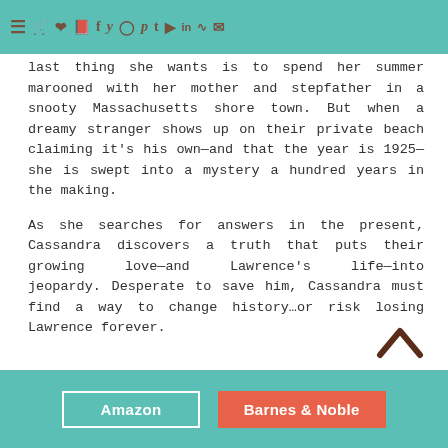≡ [navigation icons: cart, heart, book, f, twitter, instagram, pinterest, t, youtube, in, rss, mail]
last thing she wants is to spend her summer marooned with her mother and stepfather in a snooty Massachusetts shore town. But when a dreamy stranger shows up on their private beach claiming it's his own—and that the year is 1925—she is swept into a mystery a hundred years in the making.

As she searches for answers in the present, Cassandra discovers a truth that puts their growing love—and Lawrence's life—into jeopardy. Desperate to save him, Cassandra must find a way to change history…or risk losing Lawrence forever.
[Figure (other): Chevron/caret up arrow icon in dark brown, bottom right of content area]
Amazon | Barnes & Noble